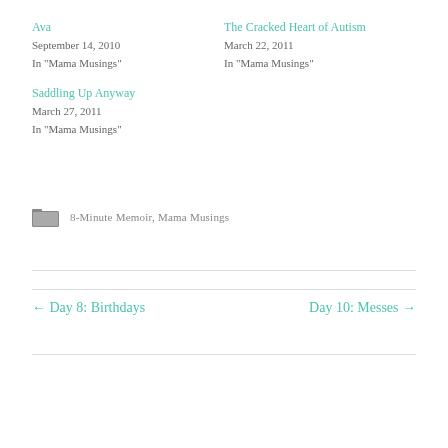Ava
September 14, 2010
In "Mama Musings"
The Cracked Heart of Autism
March 22, 2011
In "Mama Musings"
Saddling Up Anyway
March 27, 2011
In "Mama Musings"
8-Minute Memoir, Mama Musings
← Day 8: Birthdays
Day 10: Messes →